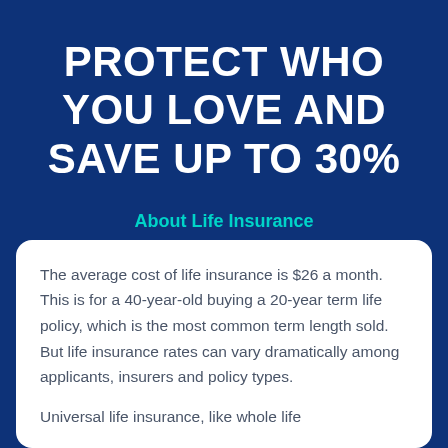PROTECT WHO YOU LOVE AND SAVE UP TO 30%
About Life Insurance
The average cost of life insurance is $26 a month. This is for a 40-year-old buying a 20-year term life policy, which is the most common term length sold. But life insurance rates can vary dramatically among applicants, insurers and policy types.
Universal life insurance, like whole life